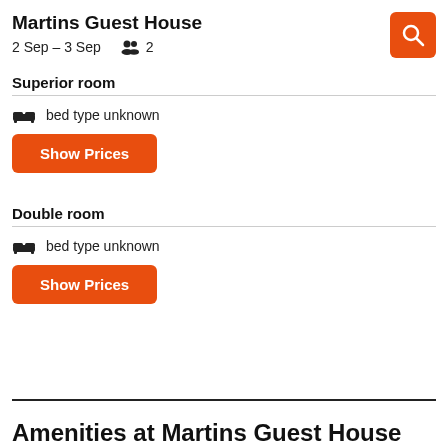Martins Guest House
2 Sep – 3 Sep   👥 2
Superior room
🛏  bed type unknown
Show Prices
Double room
🛏  bed type unknown
Show Prices
Amenities at Martins Guest House